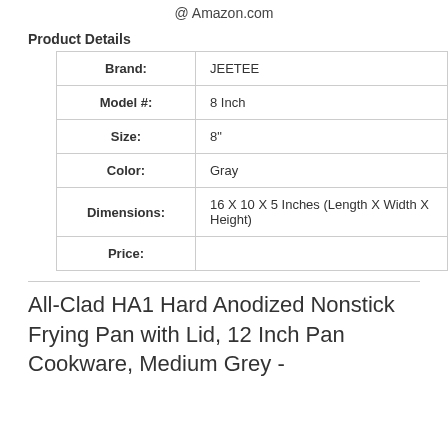@ Amazon.com
Product Details
| Brand: | JEETEE |
| Model #: | 8 Inch |
| Size: | 8" |
| Color: | Gray |
| Dimensions: | 16 X 10 X 5 Inches (Length X Width X Height) |
| Price: |  |
All-Clad HA1 Hard Anodized Nonstick Frying Pan with Lid, 12 Inch Pan Cookware, Medium Grey -